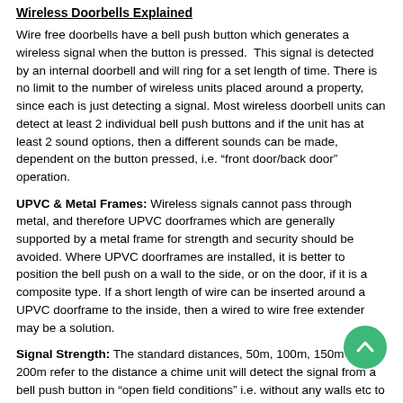Wireless Doorbells Explained
Wire free doorbells have a bell push button which generates a wireless signal when the button is pressed.  This signal is detected by an internal doorbell and will ring for a set length of time. There is no limit to the number of wireless units placed around a property, since each is just detecting a signal. Most wireless doorbell units can detect at least 2 individual bell push buttons and if the unit has at least 2 sound options, then a different sounds can be made, dependent on the button pressed, i.e. “front door/back door” operation.
UPVC & Metal Frames: Wireless signals cannot pass through metal, and therefore UPVC doorframes which are generally supported by a metal frame for strength and security should be avoided. Where UPVC doorframes are installed, it is better to position the bell push on a wall to the side, or on the door, if it is a composite type. If a short length of wire can be inserted around a UPVC doorframe to the inside, then a wired to wire free extender may be a solution.
Signal Strength: The standard distances, 50m, 100m, 150m and 200m refer to the distance a chime unit will detect the signal from a bell push button in “open field conditions” i.e. without any walls etc to interrupt the signal. “Open field conditions” is a standard that all manufacturers use rather than saying “Typical” distance. We consider the 50m chimes to be short distance for reception areas of a modern property with the bell push